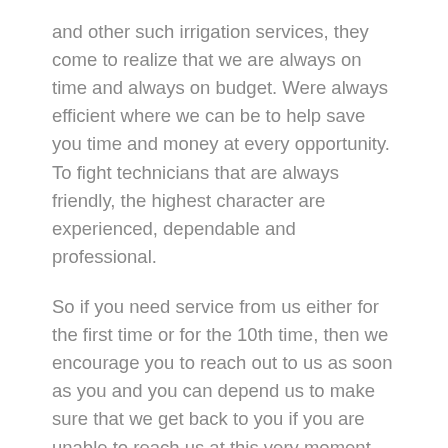and other such irrigation services, they come to realize that we are always on time and always on budget. Were always efficient where we can be to help save you time and money at every opportunity. To fight technicians that are always friendly, the highest character are experienced, dependable and professional.
So if you need service from us either for the first time or for the 10th time, then we encourage you to reach out to us as soon as you and you can depend us to make sure that we get back to you if you are unable to reach us at this very moment. You can count the fact that we can get back to you quickly and swiftly and address your needs in an efficient manner not only in response time with our service in the results. See can always get touch with us to make contact for anything including your free consultation